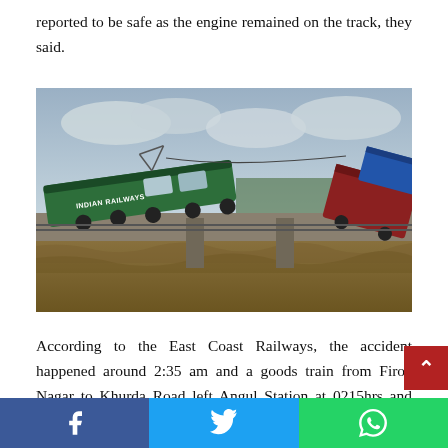reported to be safe as the engine remained on the track, they said.
[Figure (photo): A derailed Indian Railways goods train on a bridge over a flooded river. The green and white locomotive is tilted and derailed, with wagons off the track. The water below is brown and turbulent.]
According to the East Coast Railways, the accident happened around 2:35 am and a goods train from Firoz Nagar to Khurda Road left Angul Station at 0215hrs and derailed KMs 16...